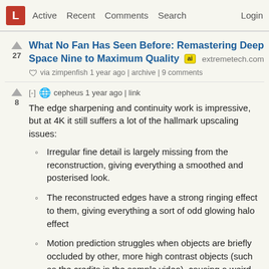L  Active  Recent  Comments  Search  Login
What No Fan Has Seen Before: Remastering Deep Space Nine to Maximum Quality  [ai]  extremetech.com
via zimpenfish 1 year ago | archive | 9 comments
[-] cepheus 1 year ago | link
The edge sharpening and continuity work is impressive, but at 4K it still suffers a lot of the hallmark upscaling issues:
Irregular fine detail is largely missing from the reconstruction, giving everything a smoothed and posterised look.
The reconstructed edges have a strong ringing effect to them, giving everything a sort of odd glowing halo effect
Motion prediction struggles when objects are briefly occluded by other, more high contrast objects (such as the credits in the sample video), causing a weird lens effect around them as this happens.
Motion prediction and reconstruction on small, discrete objects at close to pixel size in the source, like the stars, suffer both wobble and brightness variation during